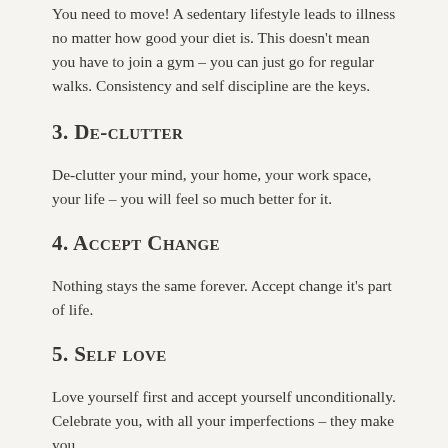You need to move! A sedentary lifestyle leads to illness no matter how good your diet is. This doesn't mean you have to join a gym – you can just go for regular walks. Consistency and self discipline are the keys.
3. De-clutter
De-clutter your mind, your home, your work space, your life – you will feel so much better for it.
4. Accept Change
Nothing stays the same forever. Accept change it's part of life.
5. Self love
Love yourself first and accept yourself unconditionally. Celebrate you, with all your imperfections – they make you